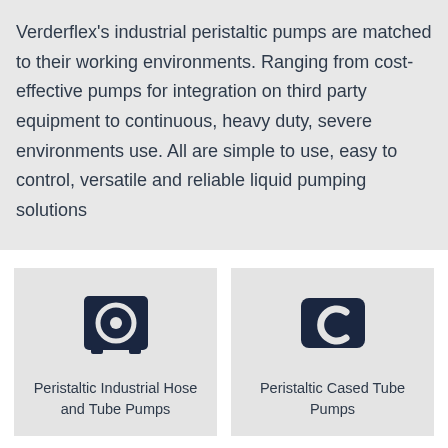Verderflex's industrial peristaltic pumps are matched to their working environments. Ranging from cost-effective pumps for integration on third party equipment to continuous, heavy duty, severe environments use. All are simple to use, easy to control, versatile and reliable liquid pumping solutions
[Figure (illustration): Icon of a peristaltic industrial hose and tube pump — dark navy square icon with circular pump rotor graphic]
Peristaltic Industrial Hose and Tube Pumps
[Figure (illustration): Icon of a peristaltic cased tube pump — dark navy rounded square icon with a C-shaped tube pump graphic]
Peristaltic Cased Tube Pumps